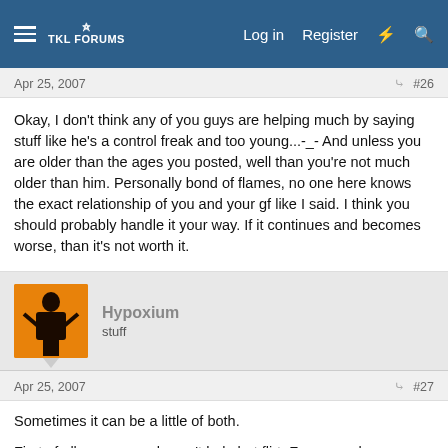TKL Forums — Log in  Register
Apr 25, 2007  #26
Okay, I don't think any of you guys are helping much by saying stuff like he's a control freak and too young...-_- And unless you are older than the ages you posted, well than you're not much older than him. Personally bond of flames, no one here knows the exact relationship of you and your gf like I said. I think you should probably handle it your way. If it continues and becomes worse, than it's not worth it.
Hypoxium
stuff
Apr 25, 2007  #27
Sometimes it can be a little of both.
First of all, some people can't help but flirt. For example, you